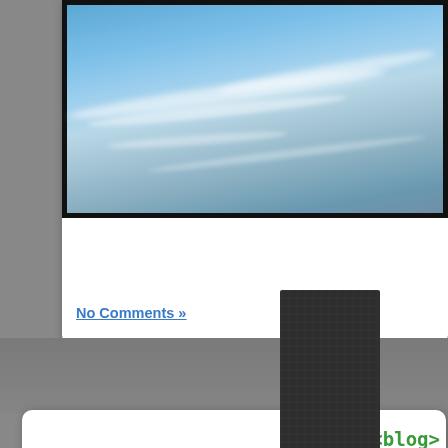[Figure (screenshot): Screenshot of a blog website called 'Rhymes With Milk' showing a photo of a blue sky with clouds at the top, a 'No Comments »' link, a decorative dark tie/arrow graphic pointing down, and a navigation sidebar with XML-style green links: <blog>, <geek>, <life>, <photo>, <archives>, <sandbox>. Footer reads 'Rhymes With Milk © Mike Kohn 2022'.]
No Comments »
<blog>
<geek>
<life>
<photo>
<archives>
<sandbox>
Rhymes With Milk © Mike Kohn 2022